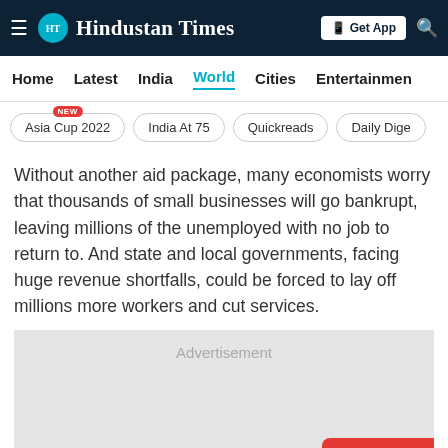Hindustan Times
Home | Latest | India | World | Cities | Entertainment
Asia Cup 2022 | India At 75 | Quickreads | Daily Dige
Without another aid package, many economists worry that thousands of small businesses will go bankrupt, leaving millions of the unemployed with no job to return to. And state and local governments, facing huge revenue shortfalls, could be forced to lay off millions more workers and cut services.
[Figure (other): Advertisement placeholder block with 'OPEN APP' button]